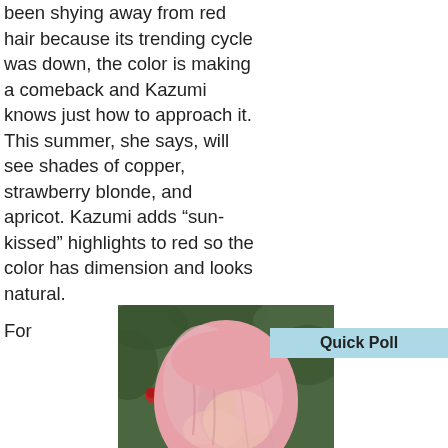been shying away from red hair because its trending cycle was down, the color is making a comeback and Kazumi knows just how to approach it. This summer, she says, will see shades of copper, strawberry blonde, and apricot. Kazumi adds “sun-kissed” highlights to red so the color has dimension and looks natural.
For
[Figure (photo): Back view of a person with pink/strawberry blonde wavy hair against a green leafy background]
Quick Poll